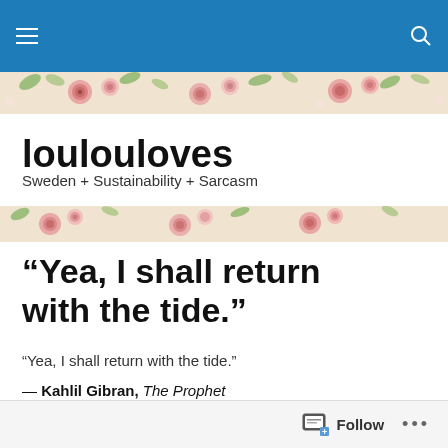Navigation bar with hamburger menu and search icon
[Figure (illustration): Floral pattern banner with pink roses, green leaves on cream background]
loulouloves
Sweden + Sustainability + Sarcasm
[Figure (illustration): Floral pattern banner with pink roses, green leaves on cream background]
“Yea, I shall return with the tide.”
“Yea, I shall return with the tide.”
— Kahlil Gibran, The Prophet
Hello folks, I’m back! And although I’m not sure if the tide has turned, I am committed to try to return to blogging. A
Follow •••